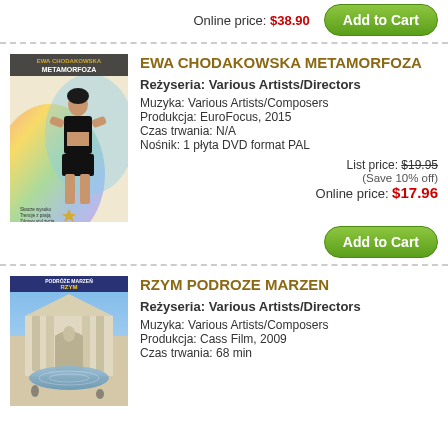Online price: $38.90
Add to Cart
[Figure (other): Decorative dashed horizontal divider]
[Figure (photo): DVD cover of Ewa Chodakowska Metamorfoza showing a fit woman in black athletic wear]
EWA CHODAKOWSKA METAMORFOZA
Reżyseria: Various Artists/Directors
Muzyka: Various Artists/Composers
Produkcja: EuroFocus, 2015
Czas trwania: N/A
Nośnik: 1 płyta DVD format PAL
List price: $19.95
(Save 10% off)
Online price: $17.96
Add to Cart
[Figure (other): Decorative dashed horizontal divider]
[Figure (photo): DVD cover of Rzym Podroze Marzen showing Trevi Fountain in Rome]
RZYM PODROZE MARZEN
Reżyseria: Various Artists/Directors
Muzyka: Various Artists/Composers
Produkcja: Cass Film, 2009
Czas trwania: 68 min